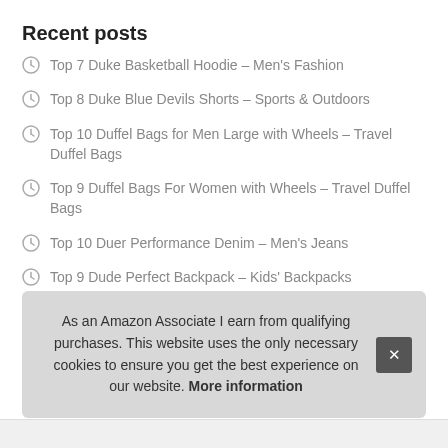Recent posts
Top 7 Duke Basketball Hoodie – Men's Fashion
Top 8 Duke Blue Devils Shorts – Sports & Outdoors
Top 10 Duffel Bags for Men Large with Wheels – Travel Duffel Bags
Top 9 Duffel Bags For Women with Wheels – Travel Duffel Bags
Top 10 Duer Performance Denim – Men's Jeans
Top 9 Dude Perfect Backpack – Kids' Backpacks
T…
T…
As an Amazon Associate I earn from qualifying purchases. This website uses the only necessary cookies to ensure you get the best experience on our website. More information